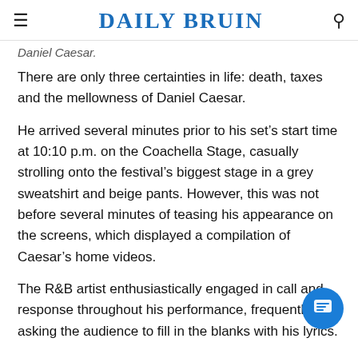DAILY BRUIN
Daniel Caesar.
There are only three certainties in life: death, taxes and the mellowness of Daniel Caesar.
He arrived several minutes prior to his set’s start time at 10:10 p.m. on the Coachella Stage, casually strolling onto the festival’s biggest stage in a grey sweatshirt and beige pants. However, this was not before several minutes of teasing his appearance on the screens, which displayed a compilation of Caesar’s home videos.
The R&B artist enthusiastically engaged in call and response throughout his performance, frequently asking the audience to fill in the blanks with his lyrics.